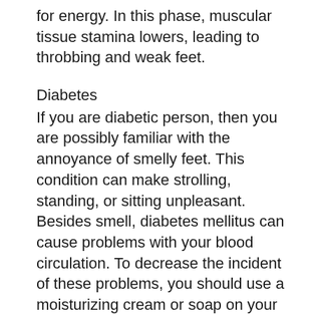for energy. In this phase, muscular tissue stamina lowers, leading to throbbing and weak feet.
Diabetes
If you are diabetic person, then you are possibly familiar with the annoyance of smelly feet. This condition can make strolling, standing, or sitting unpleasant. Besides smell, diabetes mellitus can cause problems with your blood circulation. To decrease the incident of these problems, you should use a moisturizing cream or soap on your feet. If you have actually cracked heels, you need to prevent making use of medicated pads or shower room surgery. Furthermore, you must use shoes that fit effectively. If you are unable to locate